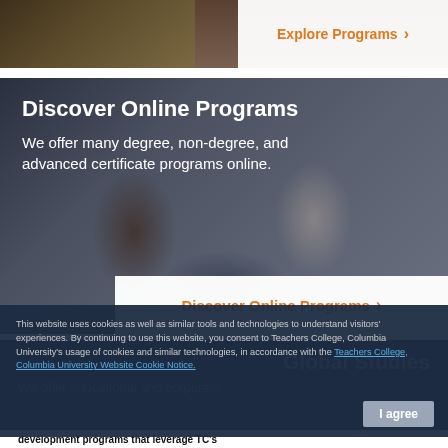[Figure (photo): Top image strip showing outdoor scene with trees, overlaid with Explore Programs button]
Explore Programs ›
[Figure (photo): Photo of people working on laptops and tablets in a classroom setting, overlaid with Discover Online Programs text]
Discover Online Programs
We offer many degree, non-degree, and advanced certificate programs online.
Discover Online Programs ›
This website uses cookies as well as similar tools and technologies to understand visitors' experiences. By continuing to use this website, you consent to Teachers College, Columbia University's usage of cookies and similar technologies, in accordance with the Teachers College, Columbia University Website Cookie Notice.
I agree
Global Studies
We offer educational and corporate
development programs that leverage TC's